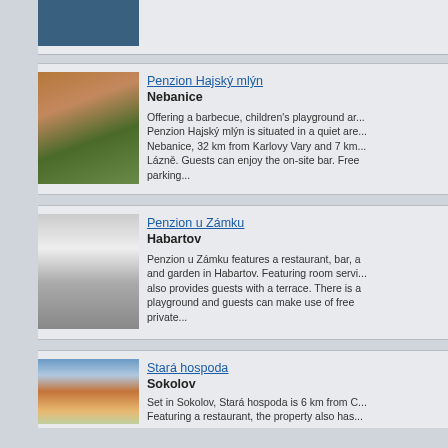[Figure (photo): Partial top card with blue/teal image placeholder]
Penzion Hajský mlýn
Nebanice
Offering a barbecue, children's playground ar... Penzion Hajský mlýn is situated in a quiet are... Nebanice, 32 km from Karlovy Vary and 7 km... Lázně. Guests can enjoy the on-site bar. Free parking...
[Figure (photo): Photo of Penzion Hajský mlýn outdoor seating area with orange chairs and plants]
Penzion u Zámku
Habartov
Penzion u Zámku features a restaurant, bar, a and garden in Habartov. Featuring room servi... also provides guests with a terrace. There is a playground and guests can make use of free private...
[Figure (photo): Photo of Penzion u Zámku, a large half-timbered building]
Stará hospoda
Sokolov
Set in Sokolov, Stará hospoda is 6 km from C... Featuring a restaurant, the property also has...
[Figure (photo): Photo of Stará hospoda building with red roof and trees]